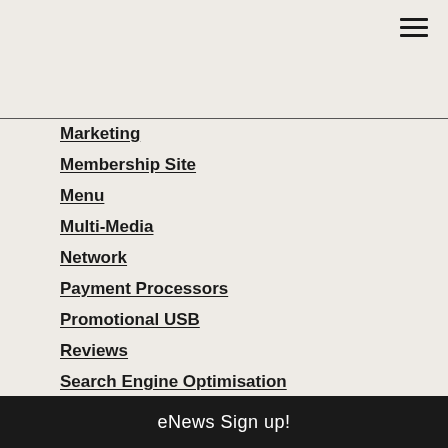Marketing
Membership Site
Menu
Multi-Media
Network
Payment Processors
Promotional USB
Reviews
Search Engine Optimisation
Seminars
SEO
Shopify
Small Business
Special
Sponsorship
eNews Sign up!